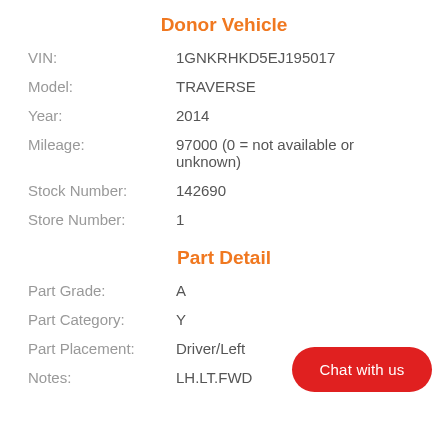Donor Vehicle
VIN: 1GNKRHKD5EJ195017
Model: TRAVERSE
Year: 2014
Mileage: 97000 (0 = not available or unknown)
Stock Number: 142690
Store Number: 1
Part Detail
Part Grade: A
Part Category: Y
Part Placement: Driver/Left
Notes: LH.LT.FWD